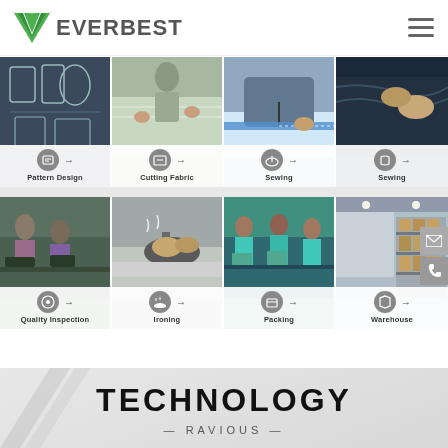[Figure (logo): Everbest company logo with green V checkmark and text EVERBEST]
[Figure (infographic): Manufacturing process grid showing 8 steps: Pattern Design, Cutting Fabric, Sewing (x2), Quality Inspection, Ironing, Packing, Warehouse — each with a photo and icon label]
TECHNOLOGY
— RAVIOUS —